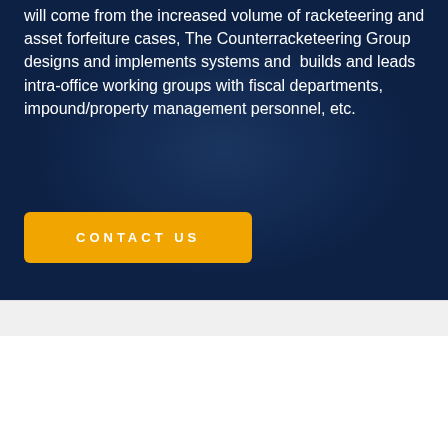will come from the increased volume of racketeering and asset forfeiture cases, The Counterracketeering Group designs and implements systems and builds and leads intra-office working groups with fiscal departments, impound/property management personnel, etc.
CONTACT US
Home
About
Services